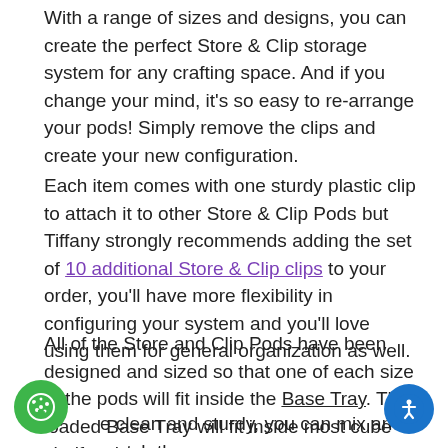With a range of sizes and designs, you can create the perfect Store & Clip storage system for any crafting space. And if you change your mind, it's so easy to re-arrange your pods! Simply remove the clips and create your new configuration.
Each item comes with one sturdy plastic clip to attach it to other Store & Clip Pods but Tiffany strongly recommends adding the set of 10 additional Store & Clip clips to your order, you'll have more flexibility in configuring your system and you'll love using them for general organization as well.
All of the Store and Clip Pods have been designed and sized so that one of each size of the pods will fit inside the Base Tray. The loaded Base Tray will fit inside most cube shelf-style storage systems.
e clean and sturdy, you can mix and match the lly Tiffany Store and Clip Pods to create personalised storage solutions for any kind of craft!